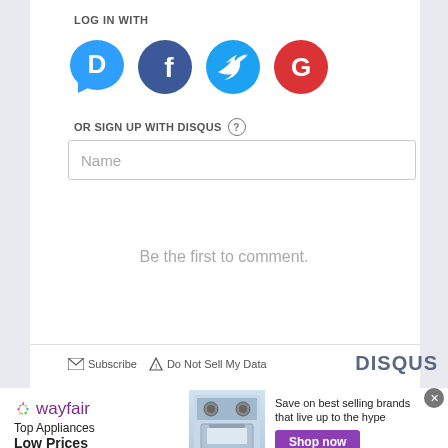LOG IN WITH
[Figure (other): Social login icons: Disqus (blue speech bubble with D), Facebook (dark blue circle with f), Twitter (light blue circle with bird), Google (red circle with G)]
OR SIGN UP WITH DISQUS ?
Name
Be the first to comment.
Subscribe   Do Not Sell My Data   DISQUS
[Figure (other): Wayfair advertisement banner: Top Appliances Low Prices, image of a stove/range appliance, Save on best selling brands that live up to the hype, Shop now button]
X close button